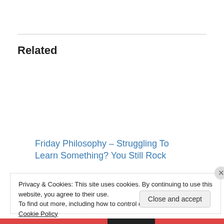Related
Friday Philosophy – Struggling To Learn Something? You Still Rock
April 1, 2016
In "Friday Philosophy"
How Much Knowledge is Enough?
June 13, 2009
In "Blogging"
Privacy & Cookies: This site uses cookies. By continuing to use this website, you agree to their use.
To find out more, including how to control cookies, see here: Cookie Policy
Close and accept